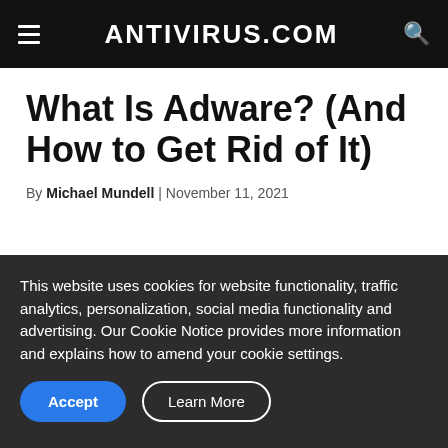ANTIVIRUS.COM
What Is Adware? (And How to Get Rid of It)
By Michael Mundell | November 11, 2021
This website uses cookies for website functionality, traffic analytics, personalization, social media functionality and advertising. Our Cookie Notice provides more information and explains how to amend your cookie settings.
Accept | Learn More